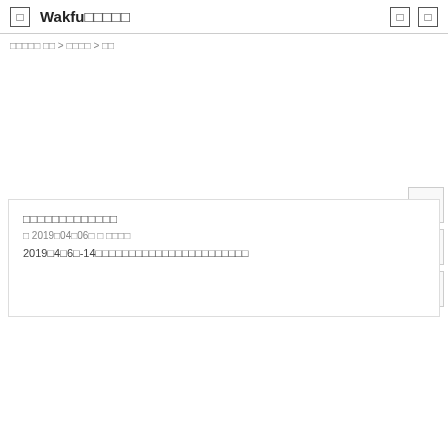□  Wakfu□□□□□  □ □
□□□□□ □□ > □□□□ > □□
□□□□□□□□□□□□□
□ 2019□04□06□ □ □□□□
2019□4□6□-14□□□□□□□□□□□□□□□□□□□□□□□□